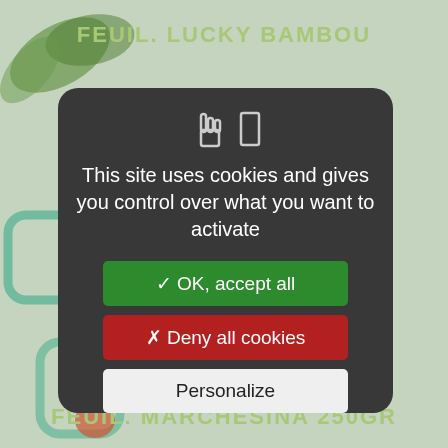FEUIL. LUCKY BAMBOU
[Figure (screenshot): Cookie consent modal dialog on a website selling plants. Background shows green product labels: FEUIL. LUCKY BAMBOU (top) and FEUIL. MARCHESINA 250GR (bottom). A dark rounded modal in the center contains cookie icons, message text, and three buttons.]
This site uses cookies and gives you control over what you want to activate
✓ OK, accept all
✗ Deny all cookies
Personalize
FEUIL. MARCHESINA 250GR